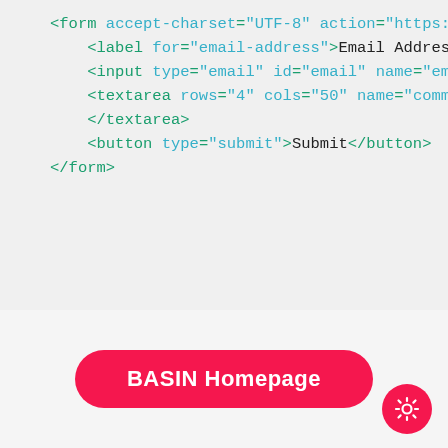[Figure (screenshot): Code block showing HTML form snippet with syntax highlighting: form tag with accept-charset and action attributes, label for email-address, input type email, textarea with rows=4 cols=50 name=comment, closing textarea tag, button type submit with Submit text, closing form tag]
BASIN Homepage